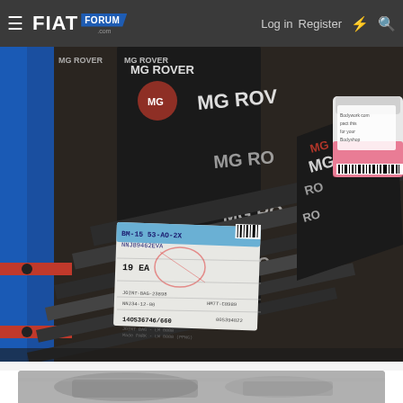FIAT Forum - Log in | Register
[Figure (photo): Close-up photo of MG Rover branded packaging and parts on a workshop shelf with tools. A label on a black box reads: BM-15 53-AO-2X, NNJ89462EVA, 19 EA, 14OS36746/660. Various steel bars and workshop tools visible in background along with another pink-lidded container.]
[Figure (photo): Partial preview of a second photo at the bottom of the page, appears to show a grey/monochrome image possibly of a person or vehicle.]